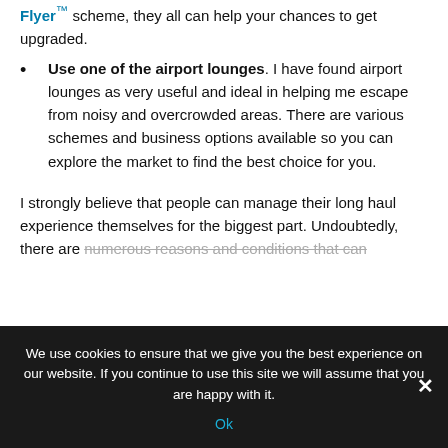Flyer™ scheme, they all can help your chances to get upgraded.
Use one of the airport lounges. I have found airport lounges as very useful and ideal in helping me escape from noisy and overcrowded areas. There are various schemes and business options available so you can explore the market to find the best choice for you.
I strongly believe that people can manage their long haul experience themselves for the biggest part. Undoubtedly, there are numerous reasons and conditions that can
We use cookies to ensure that we give you the best experience on our website. If you continue to use this site we will assume that you are happy with it.
Ok